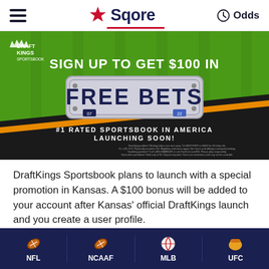Sqore — Odds
[Figure (infographic): DraftKings Sportsbook ad: Sign up to get $100 in Free Bets. #1 Rated Sportsbook in America. Launching Soon!]
DraftKings Sportsbook plans to launch with a special promotion in Kansas. A $100 bonus will be added to your account after Kansas' official DraftKings launch and you create a user profile.
In addition, if you opt for the additional
NFL   NCAAF   MLB   UFC